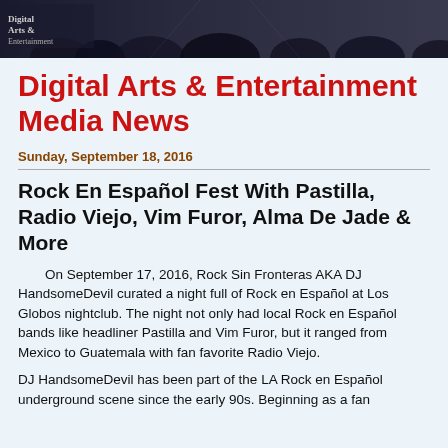[Figure (photo): Dark background image showing a silhouetted crowd or musician scene with a newspaper/website logo at top left]
Digital Arts & Entertainment Media News
Sunday, September 18, 2016
Rock En Español Fest With Pastilla, Radio Viejo, Vim Furor, Alma De Jade & More
On September 17, 2016, Rock Sin Fronteras AKA DJ HandsomeDevil curated a night full of Rock en Español at Los Globos nightclub. The night not only had local Rock en Español bands like headliner Pastilla and Vim Furor, but it ranged from Mexico to Guatemala with fan favorite Radio Viejo.
DJ HandsomeDevil has been part of the LA Rock en Español underground scene since the early 90s. Beginning as a fan